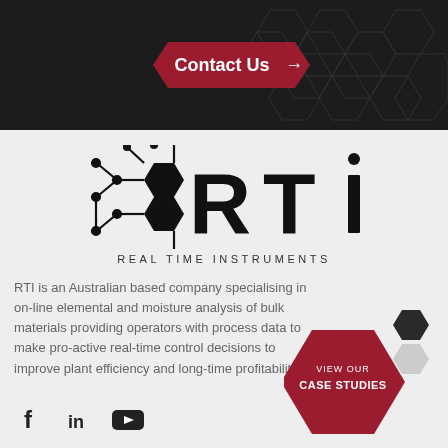[Figure (logo): Contact Us button with arrow on dark hexagonal patterned background banner]
[Figure (logo): RTI Real Time Instruments logo with molecular hexagon structure graphic and large RTi lettering, subtitle REAL TIME INSTRUMENTS]
RTI is an Australian based company specialising in on-line elemental and moisture analysis of bulk materials providing operators with process data to make pro-active real-time control decisions to improve plant efficiency and long-time profitability.
[Figure (logo): Social media icons: Facebook (f), LinkedIn (in), YouTube play button]
[Figure (infographic): Hexagonal VIEW OUR CASE STUDIES button in crimson red with smaller dark and light hexagons beside it]